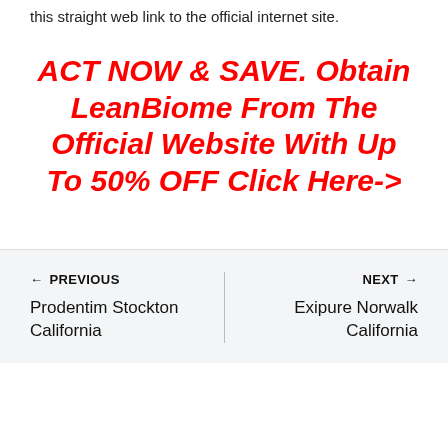this straight web link to the official internet site.
ACT NOW & SAVE. Obtain LeanBiome From The Official Website With Up To 50% OFF Click Here->
← PREVIOUS Prodentim Stockton California
NEXT → Exipure Norwalk California